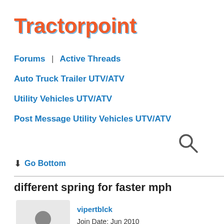Tractorpoint
Forums  |  Active Threads
Auto Truck Trailer UTV/ATV
Utility Vehicles UTV/ATV
Post Message Utility Vehicles UTV/ATV
[Figure (other): Search icon magnifying glass]
↓ Go Bottom
different spring for faster mph
[Figure (other): Default user avatar silhouette on grey background]
vipertblck
Join Date: Jun 2010
Posts: 6 hampshire